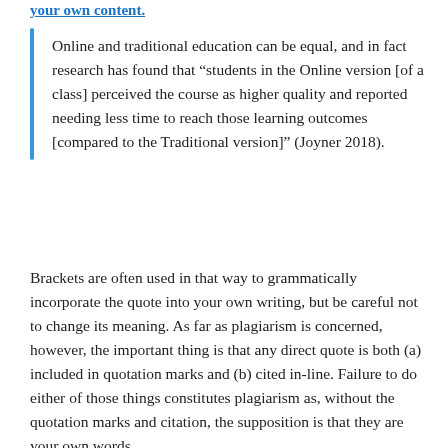your own content.
Online and traditional education can be equal, and in fact research has found that “students in the Online version [of a class] perceived the course as higher quality and reported needing less time to reach those learning outcomes [compared to the Traditional version]” (Joyner 2018).
Brackets are often used in that way to grammatically incorporate the quote into your own writing, but be careful not to change its meaning. As far as plagiarism is concerned, however, the important thing is that any direct quote is both (a) included in quotation marks and (b) cited in-line. Failure to do either of those things constitutes plagiarism as, without the quotation marks and citation, the supposition is that they are your own words.